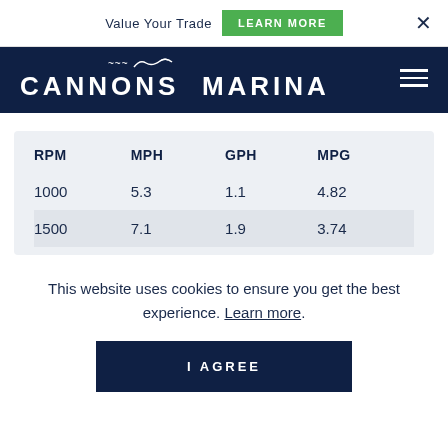Value Your Trade  LEARN MORE  ×
[Figure (logo): Cannons Marina logo — white seagull silhouette above white uppercase text 'CANNONS MARINA' on dark navy background, with hamburger menu icon on the right]
| RPM | MPH | GPH | MPG |
| --- | --- | --- | --- |
| 1000 | 5.3 | 1.1 | 4.82 |
| 1500 | 7.1 | 1.9 | 3.74 |
This website uses cookies to ensure you get the best experience. Learn more.
I AGREE